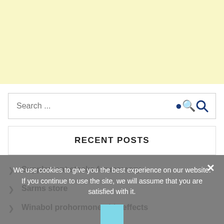[Figure (other): Light yellow advertisement banner area at the top of the page]
Search ...
RECENT POSTS
Supplement stacks for memory
Sarms store
Winabol prohormone side effects
We use cookies to give you the best experience on our website. If you continue to use the site, we will assume that you are satisfied with it.